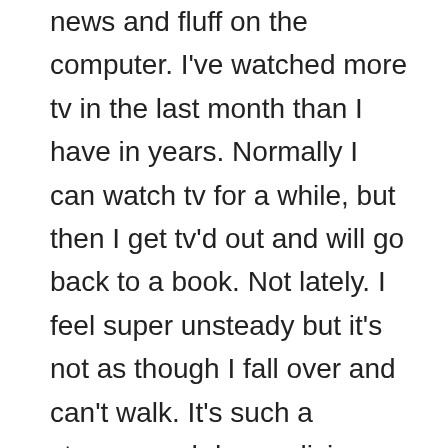news and fluff on the computer. I've watched more tv in the last month than I have in years. Normally I can watch tv for a while, but then I get tv'd out and will go back to a book. Not lately. I feel super unsteady but it's not as though I fall over and can't walk. It's such a strange and demoralizing experience. I am extremely hopeful that the treatment next Friday will help, whether it's a one time thing or not. In the meantime, I wait. The last two days have been much worse, but I imagine it is exacerbated by stress (what isn't?). Knowing that doesn't fix it though…it's like people telling me garter snakes are harmless….